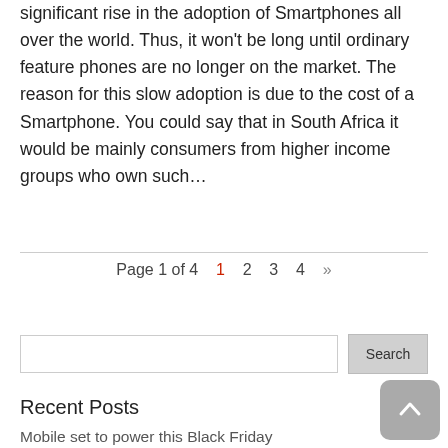significant rise in the adoption of Smartphones all over the world. Thus, it won't be long until ordinary feature phones are no longer on the market. The reason for this slow adoption is due to the cost of a Smartphone. You could say that in South Africa it would be mainly consumers from higher income groups who own such…
Page 1 of 4  1  2  3  4  »
Search
Recent Posts
Mobile set to power this Black Friday